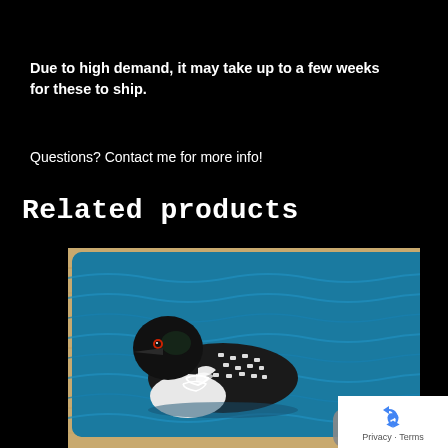Due to high demand, it may take up to a few weeks for these to ship.
Questions? Contact me for more info!
Related products
[Figure (photo): A loon bird swimming on blue rippled water, displayed on a mouse pad resting on a light wood surface with a mouse visible at bottom right corner.]
[Figure (logo): reCAPTCHA badge with blue recycling-arrow logo and 'Privacy - Terms' text below.]